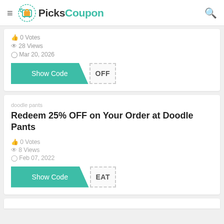PicksCoupon
0 Votes · 28 Views · Mar 20, 2026
Show Code OFF
doodle pants
Redeem 25% OFF on Your Order at Doodle Pants
0 Votes · 8 Views · Feb 07, 2022
Show Code EAT